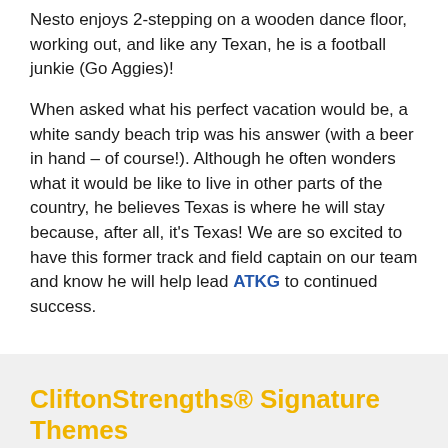Nesto enjoys 2-stepping on a wooden dance floor, working out, and like any Texan, he is a football junkie (Go Aggies)!
When asked what his perfect vacation would be, a white sandy beach trip was his answer (with a beer in hand – of course!). Although he often wonders what it would be like to live in other parts of the country, he believes Texas is where he will stay because, after all, it's Texas! We are so excited to have this former track and field captain on our team and know he will help lead ATKG to continued success.
CliftonStrengths® Signature Themes (Top 5)